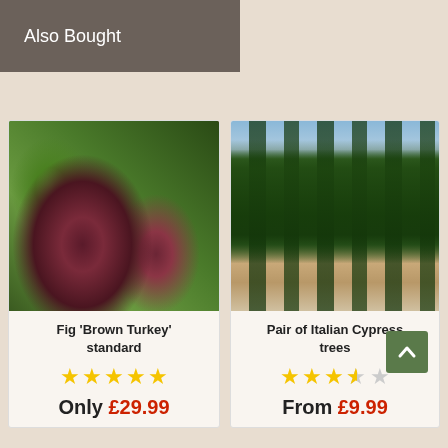Also Bought
[Figure (photo): Fig 'Brown Turkey' fruit hanging on a tree branch with green leaves]
Fig 'Brown Turkey' standard
★★★★★ (5 stars)
Only £29.99
[Figure (photo): Pair of tall Italian Cypress trees in a garden setting]
Pair of Italian Cypress trees
★★★☆☆ (3 stars)
From £9.99